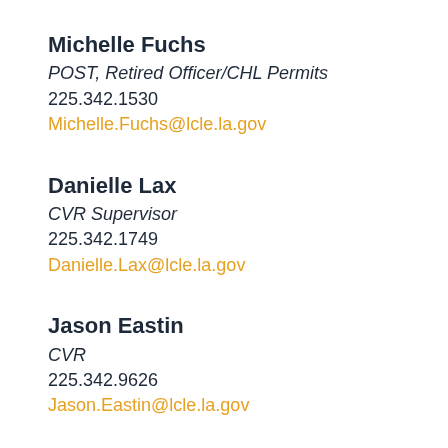Michelle Fuchs
POST, Retired Officer/CHL Permits
225.342.1530
Michelle.Fuchs@lcle.la.gov
Danielle Lax
CVR Supervisor
225.342.1749
Danielle.Lax@lcle.la.gov
Jason Eastin
CVR
225.342.9626
Jason.Eastin@lcle.la.gov